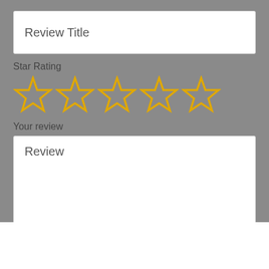Review Title
Star Rating
[Figure (other): Five empty star rating icons in gold/amber color arranged in a horizontal row]
Your review
Review
SUBMIT – THANKS!